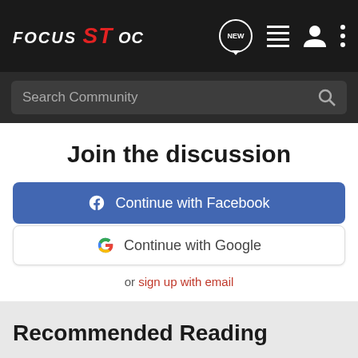FOCUS ST OC
Search Community
Join the discussion
Continue with Facebook
Continue with Google
or sign up with email
Recommended Reading
Clutch or Brakepad issue ?
Mk2 Gearbox, Clutch & Running Gear